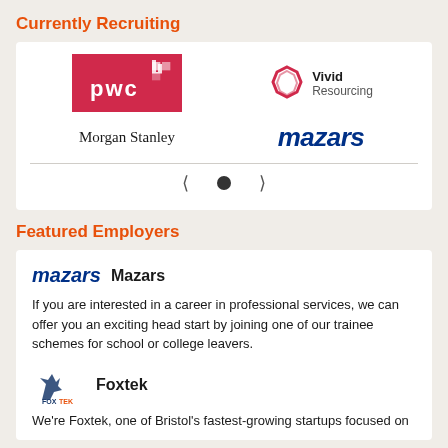Currently Recruiting
[Figure (logo): Carousel of recruiting company logos: PwC (pink/red background), Vivid Resourcing (red hexagon icon), Morgan Stanley (serif text), Mazars (blue bold italic)]
Featured Employers
[Figure (logo): Mazars logo — bold blue italic text 'mazars' followed by 'Mazars' in black]
If you are interested in a career in professional services, we can offer you an exciting head start by joining one of our trainee schemes for school or college leavers.
[Figure (logo): Foxtek logo — blue fox icon with FOXTEK text, beside bold 'Foxtek' name]
We're Foxtek, one of Bristol's fastest-growing startups focused on